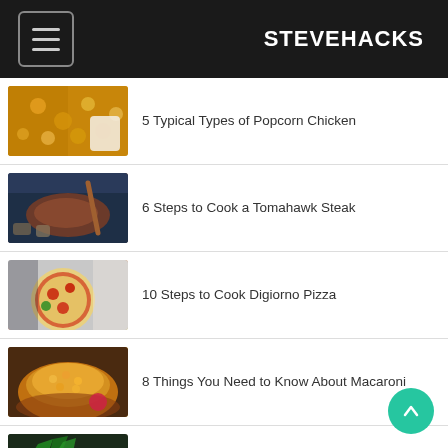STEVEHACKS
5 Typical Types of Popcorn Chicken
6 Steps to Cook a Tomahawk Steak
10 Steps to Cook Digiorno Pizza
8 Things You Need to Know About Macaroni
6 Different Types of Cream Cheese Pie and How to Cook Them